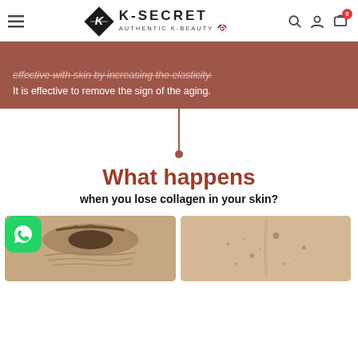K-SECRET AUTHENTIC K-BEAUTY
[Figure (screenshot): Brown banner with white text: strikethrough italic line 'effective with skin by increasing the elasticity.' and below 'It is effective to remove the sign of the aging.']
[Figure (infographic): Vertical connector line with dot, brown color, linking banner to heading below]
What happens
when you lose collagen in your skin?
[Figure (photo): Two side-by-side skin close-up photos showing aging/collagen loss effects. Left image shows eye area with wrinkles, right image shows skin with spots/pores. A WhatsApp button (green) overlays the bottom-left corner.]